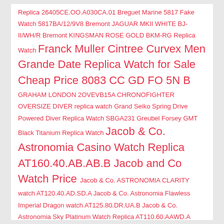Replica 26405CE.OO.A030CA.01 Breguet Marine 5817 Fake Watch 5817BA/12/9V8 Bremont JAGUAR MKII WHITE BJ-II/WH/R Bremont KINGSMAN ROSE GOLD BKM-RG Replica Watch Franck Muller Cintree Curvex Men Grande Date Replica Watch for Sale Cheap Price 8083 CC GD FO 5N B GRAHAM LONDON 2OVEVB15A CHRONOFIGHTER OVERSIZE DIVER replica watch Grand Seiko Spring Drive Powered Diver Replica Watch SBGA231 Greubel Forsey GMT Black Titanium Replica Watch Jacob & Co. Astronomia Casino Watch Replica AT160.40.AB.AB.B Jacob and Co Watch Price Jacob & Co. ASTRONOMIA CLARITY watch AT120.40.AD.SD.A Jacob & Co. Astronomia Flawless Imperial Dragon watch AT125.80.DR.UA.B Jacob & Co. Astronomia Sky Platinum Watch Replica AT110.60.AAWD.A Jacob and Co Watch Price Jacob & Co. Astronomia Solar Baguette Jewellery Planets Zodiac watch Jacob & Co. Astronomia Solar